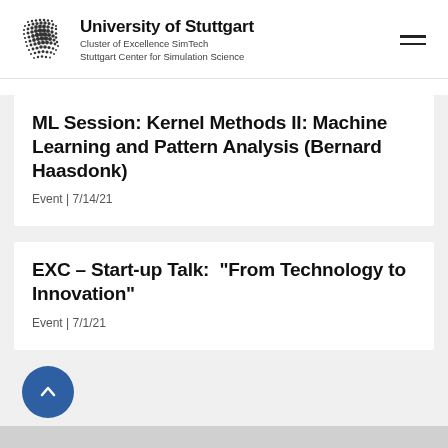University of Stuttgart
Cluster of Excellence SimTech
Stuttgart Center for Simulation Science
ML Session: Kernel Methods II: Machine Learning and Pattern Analysis (Bernard Haasdonk)
Event | 7/14/21
EXC – Start-up Talk: "From Technology to Innovation"
Event | 7/1/21